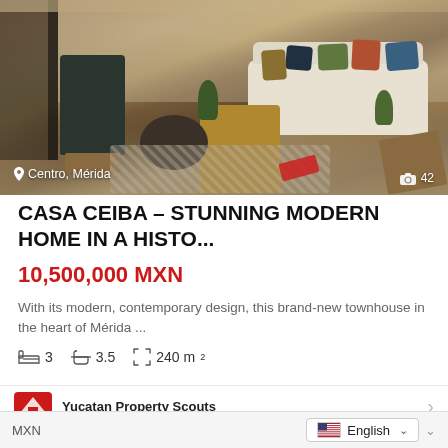[Figure (photo): Interior living room photo of Casa Ceiba showing modern contemporary design with leather chairs, wicker furniture, sofa with colorful pillows, round coffee table, and patterned rug. Location overlay shows 'Centro, Mérida' and photo count '42'.]
CASA CEIBA – STUNNING MODERN HOME IN A HISTO...
10,500,000 MXN
With its modern, contemporary design, this brand-new townhouse in the heart of Mérida ...
3  3.5  240 m²
Yucatan Property Scouts
MXN  English